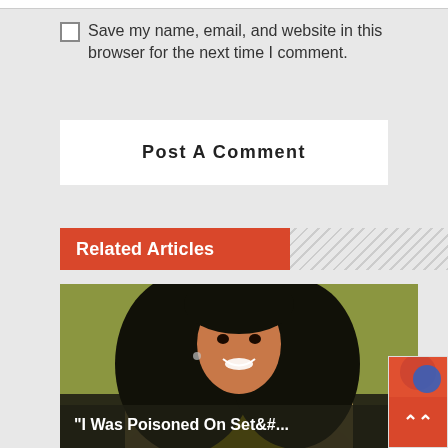Save my name, email, and website in this browser for the next time I comment.
Post A Comment
Related Articles
[Figure (photo): A woman with long wavy dark hair, wearing a yellow top and patterned jacket, smiling against a green background.]
"I Was Poisoned On Set&#...